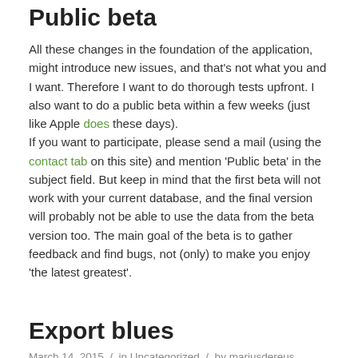Public beta
All these changes in the foundation of the application, might introduce new issues, and that's not what you and I want. Therefore I want to do thorough tests upfront. I also want to do a public beta within a few weeks (just like Apple does these days).
If you want to participate, please send a mail (using the contact tab on this site) and mention ‘Public beta’ in the subject field. But keep in mind that the first beta will not work with your current database, and the final version will probably not be able to use the data from the beta version too. The main goal of the beta is to gather feedback and find bugs, not (only) to make you enjoy ‘the latest greatest’.
Export blues
March 14, 2015  /  in Uncategorized  /  by mariusdereus
While working on version 5.0 (which unfortunately takes more